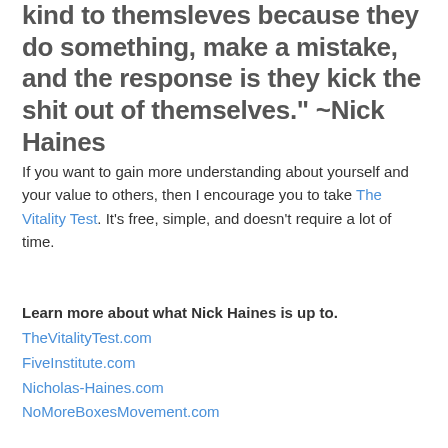kind to themsleves because they do something, make a mistake, and the response is they kick the shit out of themselves." ~Nick Haines
If you want to gain more understanding about yourself and your value to others, then I encourage you to take The Vitality Test. It's free, simple, and doesn't require a lot of time.
Learn more about what Nick Haines is up to.
TheVitalityTest.com
FiveInstitute.com
Nicholas-Haines.com
NoMoreBoxesMovement.com